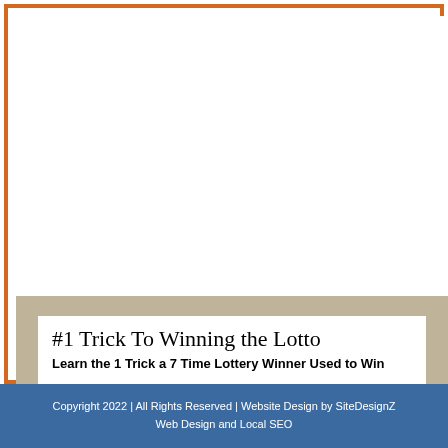[Figure (other): Advertisement banner with white background containing lottery trick promotion: '#1 Trick To Winning the Lotto' headline in handwritten font and 'Learn the 1 Trick a 7 Time Lottery Winner Used to Win' subheadline in bold. Surrounded by a tan/beige background section, all inside an orange-bordered frame on a white upper area.]
Copyright 2022 | All Rights Reserved | Website Design by SiteDesignZ Web Design and Local SEO